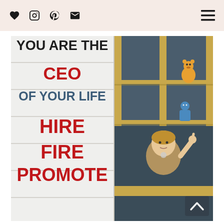[social icons: heart, instagram, pinterest, mail] [hamburger menu]
[Figure (photo): Photo of a letter board sign reading 'YOU ARE THE CEO OF YOUR LIFE HIRE FIRE PROMOTE' in black, red, and blue letters, with a woman sitting at a desk in the right half giving a thumbs-up gesture, shelving units with Funko Pop figures visible in the background]